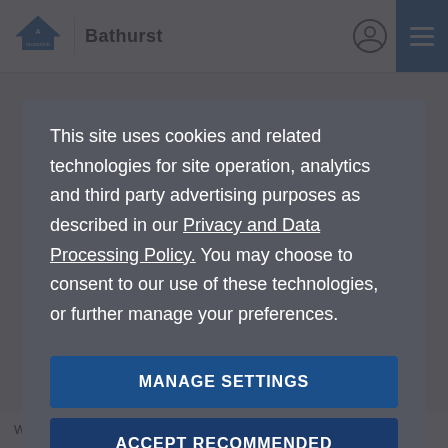Automotive Bathurst
This site uses cookies and related technologies for site operation, analytics and third party advertising purposes as described in our Privacy and Data Processing Policy. You may choose to consent to our use of these technologies, or further manage your preferences.
MANAGE SETTINGS
ACCEPT RECOMMENDED
WarrantyOur family-owned, locally operated dealership aims to